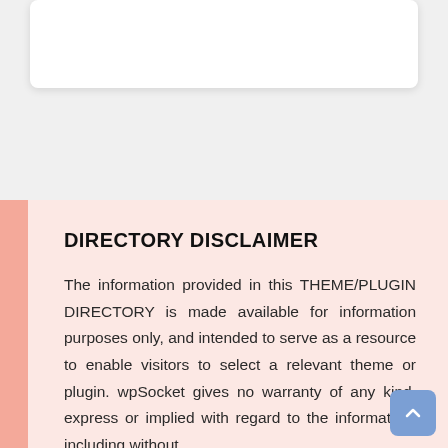[Figure (other): White card with rounded corners and drop shadow at top of page]
DIRECTORY DISCLAIMER
The information provided in this THEME/PLUGIN DIRECTORY is made available for information purposes only, and intended to serve as a resource to enable visitors to select a relevant theme or plugin. wpSocket gives no warranty of any kind, express or implied with regard to the information, including without